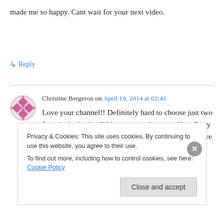made me so happy. Cant wait for your next video.
↳ Reply
Christine Bergeron on April 19, 2014 at 02:41
Love your channel!! Definitely hard to choose just two favorite looks, but I'd have to say that your Katy Perry tutorial and your New Years tutorials are amazing! I've been lusting after
Privacy & Cookies: This site uses cookies. By continuing to use this website, you agree to their use.
To find out more, including how to control cookies, see here: Cookie Policy
Close and accept